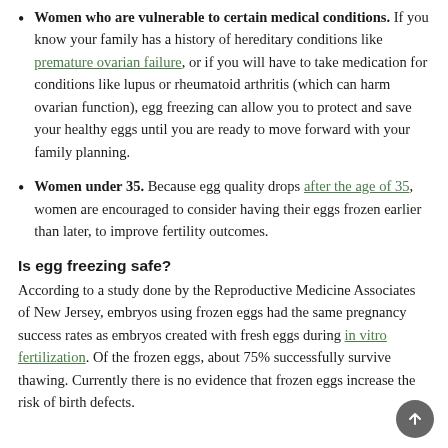Women who are vulnerable to certain medical conditions. If you know your family has a history of hereditary conditions like premature ovarian failure, or if you will have to take medication for conditions like lupus or rheumatoid arthritis (which can harm ovarian function), egg freezing can allow you to protect and save your healthy eggs until you are ready to move forward with your family planning.
Women under 35. Because egg quality drops after the age of 35, women are encouraged to consider having their eggs frozen earlier than later, to improve fertility outcomes.
Is egg freezing safe?
According to a study done by the Reproductive Medicine Associates of New Jersey, embryos using frozen eggs had the same pregnancy success rates as embryos created with fresh eggs during in vitro fertilization. Of the frozen eggs, about 75% successfully survive thawing. Currently there is no evidence that frozen eggs increase the risk of birth defects.